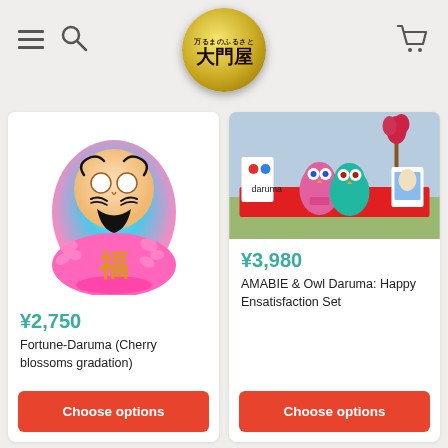大門屋 (Daimonya) - Japanese shop header with menu, search, and cart icons
[Figure (photo): Daruma doll with blue top, pink cherry blossom bottom, and gold 福 character]
¥2,750
Fortune-Daruma (Cherry blossoms gradation)
Choose options
[Figure (photo): AMABIE and Owl Daruma set with colorful owl figurines on red cloth outdoors]
¥3,980
AMABIE & Owl Daruma: Happy Ensatisfaction Set
Choose options